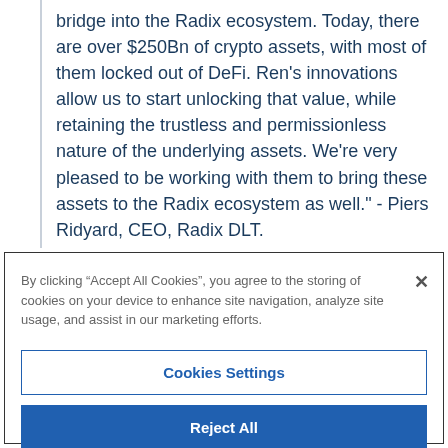bridge into the Radix ecosystem. Today, there are over $250Bn of crypto assets, with most of them locked out of DeFi. Ren's innovations allow us to start unlocking that value, while retaining the trustless and permissionless nature of the underlying assets. We're very pleased to be working with them to bring these assets to the Radix ecosystem as well." - Piers Ridyard, CEO, Radix DLT.
By clicking “Accept All Cookies”, you agree to the storing of cookies on your device to enhance site navigation, analyze site usage, and assist in our marketing efforts.
Cookies Settings
Reject All